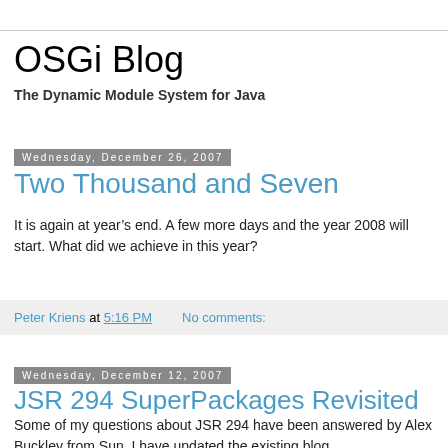OSGi Blog
The Dynamic Module System for Java
Wednesday, December 26, 2007
Two Thousand and Seven
It is again at year’s end. A few more days and the year 2008 will start. What did we achieve in this year?
Peter Kriens at 5:16 PM   No comments:
Wednesday, December 12, 2007
JSR 294 SuperPackages Revisited
Some of my questions about JSR 294 have been answered by Alex Buckley from Sun. I have updated the existing blog